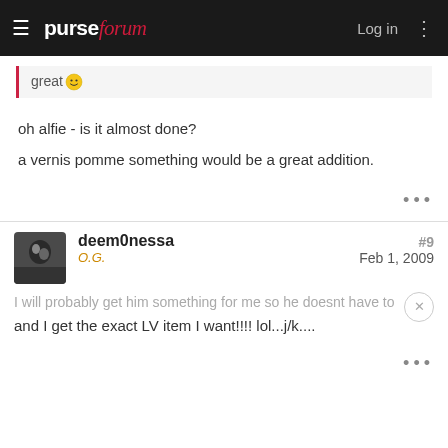purseforum — Log in
great 🙂
oh alfie - is it almost done?
a vernis pomme something would be a great addition.
deem0nessa
O.G.
#9
Feb 1, 2009
I will probably get him something for me so he doesnt have to and I get the exact LV item I want!!!! lol...j/k....